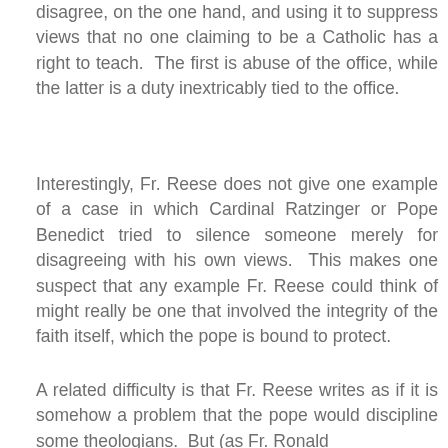disagree, on the one hand, and using it to suppress views that no one claiming to be a Catholic has a right to teach.  The first is abuse of the office, while the latter is a duty inextricably tied to the office.
Interestingly, Fr. Reese does not give one example of a case in which Cardinal Ratzinger or Pope Benedict tried to silence someone merely for disagreeing with his own views.  This makes one suspect that any example Fr. Reese could think of might really be one that involved the integrity of the faith itself, which the pope is bound to protect.
A related difficulty is that Fr. Reese writes as if it is somehow a problem that the pope would discipline some theologians.  But (as Fr. Ronald